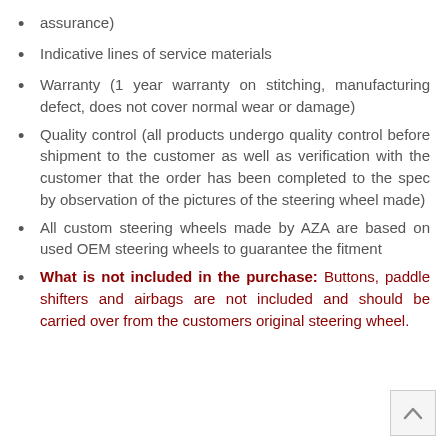assurance)
Indicative lines of service materials
Warranty (1 year warranty on stitching, manufacturing defect, does not cover normal wear or damage)
Quality control (all products undergo quality control before shipment to the customer as well as verification with the customer that the order has been completed to the spec by observation of the pictures of the steering wheel made)
All custom steering wheels made by AZA are based on used OEM steering wheels to guarantee the fitment
What is not included in the purchase: Buttons, paddle shifters and airbags are not included and should be carried over from the customers original steering wheel.